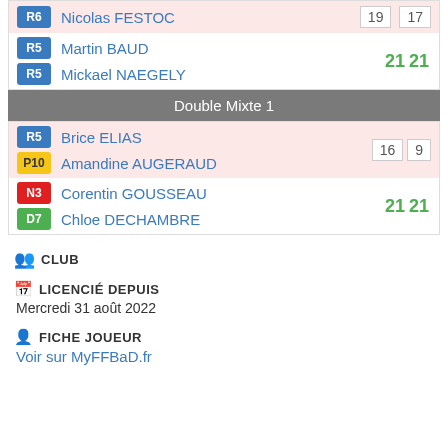| R6 | Nicolas FESTOC | 19 | 17 |
| R5 | Martin BAUD |  |  |
| R5 | Mickael NAEGELY | 21 | 21 |
Double Mixte 1
| R5 | Brice ELIAS | 16 | 9 |
| P10 | Amandine AUGERAUD |  |  |
| N3 | Corentin GOUSSEAU | 21 | 21 |
| D7 | Chloe DECHAMBRE |  |  |
CLUB
LICENCIÉ DEPUIS
Mercredi 31 août 2022
FICHE JOUEUR
Voir sur MyFFBaD.fr